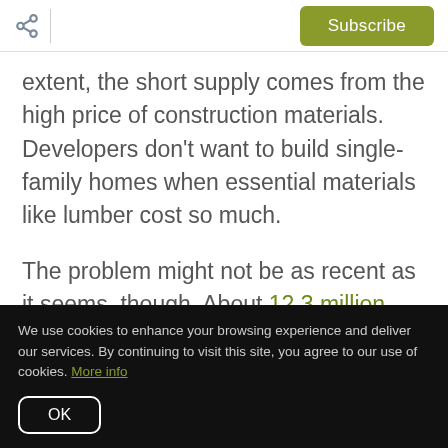Share | Subscribe
extent, the short supply comes from the high price of construction materials. Developers don't want to build single-family homes when essential materials like lumber cost so much.
The problem might not be as recent as it seems, though. About 12.3 million households were formed
We use cookies to enhance your browsing experience and deliver our services. By continuing to visit this site, you agree to our use of cookies. More info
OK